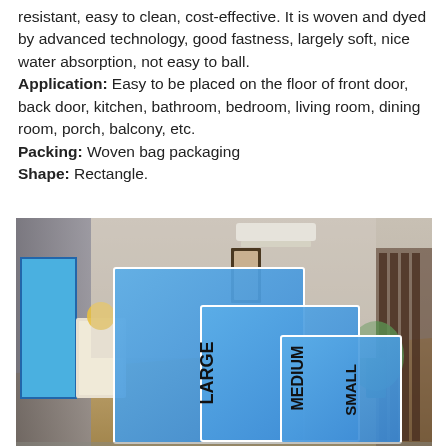resistant, easy to clean, cost-effective. It is woven and dyed by advanced technology, good fastness, largely soft, nice water absorption, not easy to ball. Application: Easy to be placed on the floor of front door, back door, kitchen, bathroom, bedroom, living room, dining room, porch, balcony, etc. Packing: Woven bag packaging Shape: Rectangle.
[Figure (photo): A hallway/living room interior scene with three blue rectangular rugs overlaid, labeled LARGE, MEDIUM, and SMALL from left to right to show size comparison.]